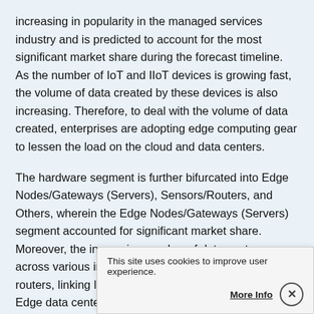increasing in popularity in the managed services industry and is predicted to account for the most significant market share during the forecast timeline. As the number of IoT and IIoT devices is growing fast, the volume of data created by these devices is also increasing. Therefore, to deal with the volume of data created, enterprises are adopting edge computing gear to lessen the load on the cloud and data centers.
The hardware segment is further bifurcated into Edge Nodes/Gateways (Servers), Sensors/Routers, and Others, wherein the Edge Nodes/Gateways (Servers) segment accounted for significant market share. Moreover, the increasing number of data centers across various industries boosts the demand for edge routers, linking local and wide-area networks (WAN). Edge data centers must be well-equipped with routers capable of handling traffic while maintaining low latency. The demand for